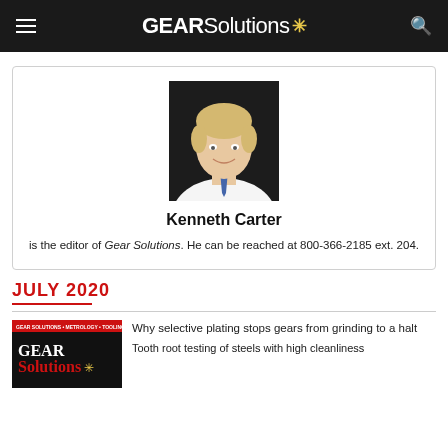GEARSolutions
[Figure (photo): Headshot of Kenneth Carter, a man with blond hair wearing a white shirt and blue tie, against a dark background]
Kenneth Carter
is the editor of Gear Solutions. He can be reached at 800-366-2185 ext. 204.
JULY 2020
[Figure (photo): Thumbnail cover of Gear Solutions magazine issue]
Why selective plating stops gears from grinding to a halt
Tooth root testing of steels with high cleanliness